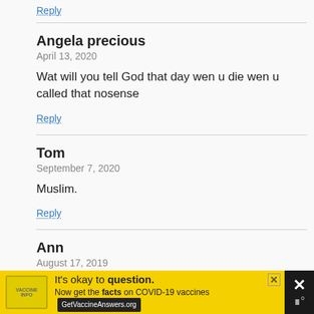Reply
Angela precious
April 13, 2020
Wat will you tell God that day wen u die wen u called that nosense
Reply
Tom
September 7, 2020
Muslim.
Reply
Ann
August 17, 2019
[Figure (infographic): Yellow advertisement banner: It's okay to question. Now get the facts on COVID-19 vaccines. GetVaccineAnswers.org]